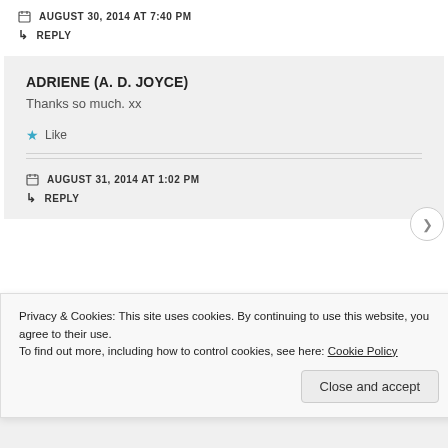AUGUST 30, 2014 AT 7:40 PM
↳ REPLY
ADRIENE (A. D. JOYCE)
Thanks so much. xx
★ Like
AUGUST 31, 2014 AT 1:02 PM
↳ REPLY
Privacy & Cookies: This site uses cookies. By continuing to use this website, you agree to their use.
To find out more, including how to control cookies, see here: Cookie Policy
Close and accept